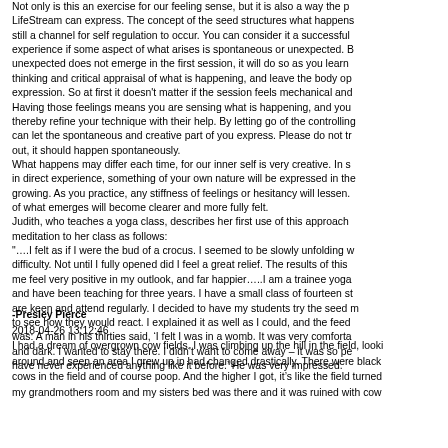Not only is this an exercise for our feeling sense, but it is also a way the p... LifeStream can express. The concept of the seed structures what happens still a channel for self regulation to occur. You can consider it a successful experience if some aspect of what arises is spontaneous or unexpected. B unexpected does not emerge in the first session, it will do so as you learn thinking and critical appraisal of what is happening, and leave the body op expression. So at first it doesn't matter if the session feels mechanical and Having those feelings means you are sensing what is happening, and you thereby refine your technique with their help. By letting go of the controlling can let the spontaneous and creative part of you express. Please do not tr out, it should happen spontaneously. What happens may differ each time, for our inner self is very creative. In s in direct experience, something of your own nature will be expressed in the growing. As you practice, any stiffness of feelings or hesitancy will lessen. of what emerges will become clearer and more fully felt. Judith, who teaches a yoga class, describes her first use of this approach meditation to her class as follows: "….I felt as if I were the bud of a crocus. I seemed to be slowly unfolding w difficulty. Not until I fully opened did I feel a great relief. The results of this me feel very positive in my outlook, and far happier…..I am a trainee yoga and have been teaching for three years. I have a small class of fourteen st are keen and attend regularly. I decided to have my students try the seed m to see how they would react. I explained it as well as I could, and the feed was: A man in his thirties said, 'I felt I was in a womb. It was very comforta and dark. I wanted to stay there. I didn't want to come away – it was so pe have never experienced anything like it before.' He was very impressed.
-Presley Pierce
2018-04-26 13:12:46
I had a dream of overgrown cow fields. I was climbing up the hill in the field, lookin around and seen an area I grew up in had changed drastically. There were black cows in the field and of course poop. And the higher I got, it's like the field turned my grandmothers room and my sisters bed was there and it was ruined with cow...